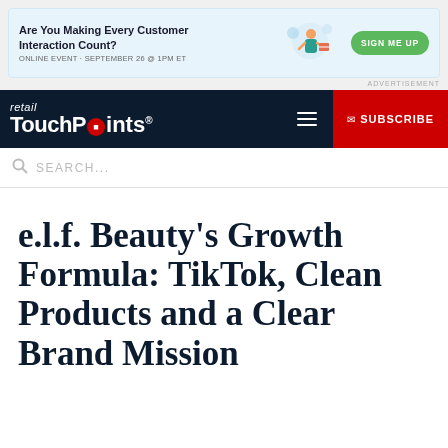[Figure (infographic): Advertisement banner: 'Are You Making Every Customer Interaction Count?' with SIGN ME UP button and online event details]
retail TouchPoints® [navigation with hamburger menu and SUBSCRIBE button]
SEARCH...
e.l.f. Beauty's Growth Formula: TikTok, Clean Products and a Clear Brand Mission